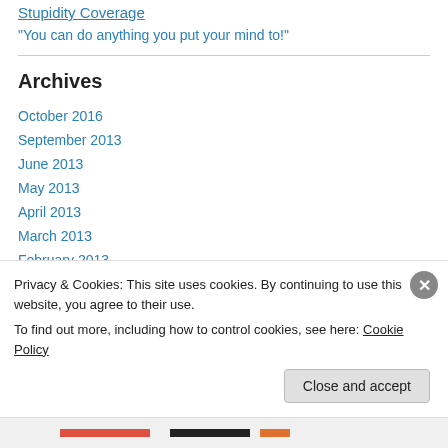Stupidity Coverage
“You can do anything you put your mind to!”
Archives
October 2016
September 2013
June 2013
May 2013
April 2013
March 2013
February 2013
January 2013
Privacy & Cookies: This site uses cookies. By continuing to use this website, you agree to their use. To find out more, including how to control cookies, see here: Cookie Policy
Close and accept